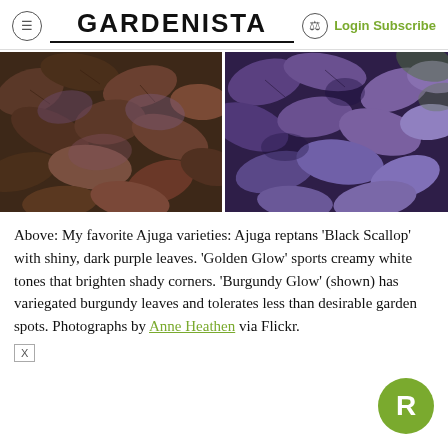GARDENISTA  Login Subscribe
[Figure (photo): Two side-by-side photographs of Ajuga plant varieties with dark purple and burgundy leaves]
Above: My favorite Ajuga varieties: Ajuga reptans ‘Black Scallop’ with shiny, dark purple leaves. ‘Golden Glow’ sports creamy white tones that brighten shady corners. ‘Burgundy Glow’ (shown) has variegated burgundy leaves and tolerates less than desirable garden spots. Photographs by Anne Heathen via Flickr.